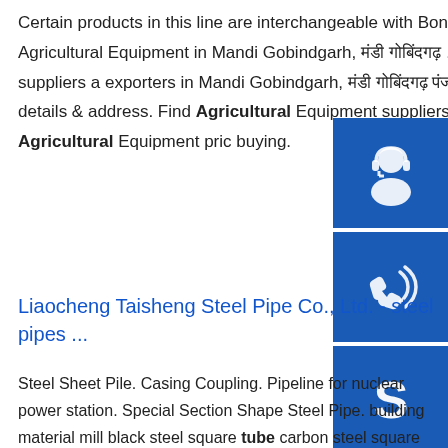Certain products in this line are interchangeable with Bondioli & Pavesi and Walterscheid components.sp.info Agricultural Equipment in Mandi Gobindgarh, मंडी गोबिंदगढ़ ...Business of Agricultural Equipment manufacturers, suppliers and exporters in Mandi Gobindgarh, मंडी गोबिंदगढ़ पंजाब, मंडी गोबिंदगढ़, Punjab along with their contact details & address. Find Agricultural Equipment suppliers, manufacturers, wholesalers, traders with Agricultural Equipment price for buying.
[Figure (illustration): Three blue icon boxes stacked vertically: a customer service/headset icon, a phone/signal icon, and a Skype icon]
Liaocheng Taisheng Steel Pipe Co., Ltd. - steel pipes ...
Steel Sheet Pile. Casing Coupling. Pipeline for nuclear power station. Special Section Shape Steel Pipe. building material mill black steel square tube carbon steel square pipe. $399.00 - $549.00 / Metric Ton. 5 Metric Tons (Min. Order) ST52 cold